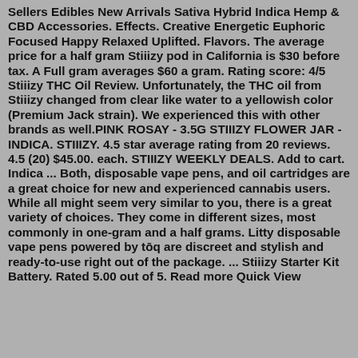Sellers Edibles New Arrivals Sativa Hybrid Indica Hemp & CBD Accessories. Effects. Creative Energetic Euphoric Focused Happy Relaxed Uplifted. Flavors. The average price for a half gram Stiiizy pod in California is $30 before tax. A Full gram averages $60 a gram. Rating score: 4/5 Stiiizy THC Oil Review. Unfortunately, the THC oil from Stiiizy changed from clear like water to a yellowish color (Premium Jack strain). We experienced this with other brands as well.PINK ROSAY - 3.5G STIIIZY FLOWER JAR - INDICA. STIIIZY. 4.5 star average rating from 20 reviews. 4.5 (20) $45.00. each. STIIIZY WEEKLY DEALS. Add to cart. Indica ... Both, disposable vape pens, and oil cartridges are a great choice for new and experienced cannabis users. While all might seem very similar to you, there is a great variety of choices. They come in different sizes, most commonly in one-gram and a half grams. Litty disposable vape pens powered by tōq are discreet and stylish and ready-to-use right out of the package. ... Stiiizy Starter Kit Battery. Rated 5.00 out of 5. Read more Quick View